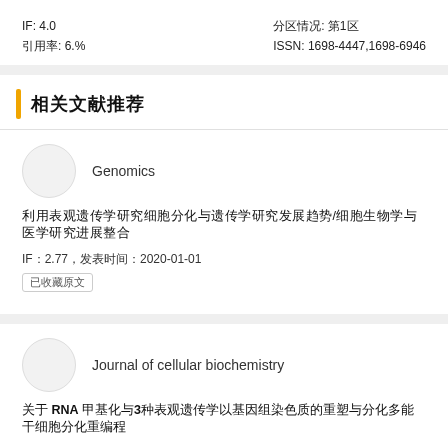IF: 4.0
引用率: 6.%
分区情况: 第1区
ISSN: 1698-4447,1698-6946
相关文献推荐
Genomics
利用表观遗传学研究细胞分化与遗传学研究发展趋势/细胞生物学与医学研究进展整合
IF：2.77，发表时间：2020-01-01
已收藏原文
Journal of cellular biochemistry
关于 RNA 甲基化与3种表观遗传学以基因组染色质的重塑与分化多能干细胞分化重编程